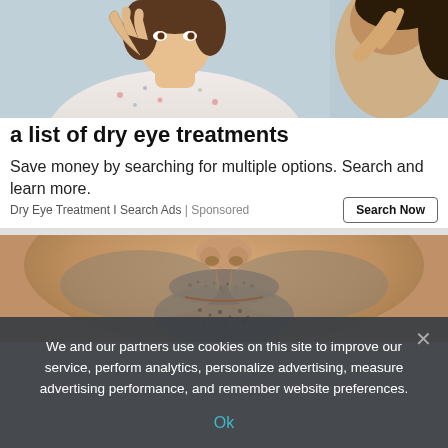[Figure (photo): Woman examining her eye in a mirror, middle-aged, wearing a floral top]
a list of dry eye treatments
Save money by searching for multiple options. Search and learn more.
Dry Eye Treatment I Search Ads | Sponsored
[Figure (photo): Close-up of a man's face showing stubble/beard around mustache area]
We and our partners use cookies on this site to improve our service, perform analytics, personalize advertising, measure advertising performance, and remember website preferences.
Ok